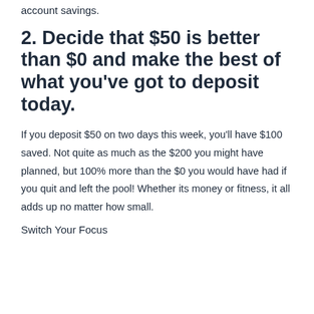account savings.
2. Decide that $50 is better than $0 and make the best of what you've got to deposit today.
If you deposit $50 on two days this week, you'll have $100 saved. Not quite as much as the $200 you might have planned, but 100% more than the $0 you would have had if you quit and left the pool! Whether its money or fitness, it all adds up no matter how small.
Switch Your Focus